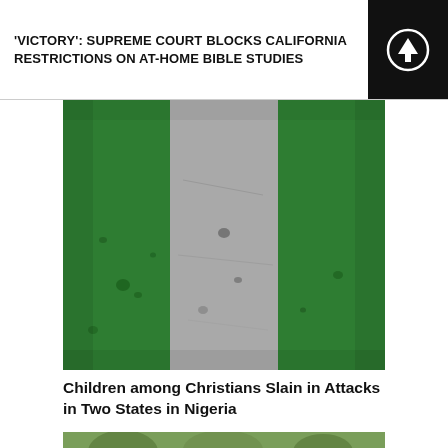'VICTORY': SUPREME COURT BLOCKS CALIFORNIA RESTRICTIONS ON AT-HOME BIBLE STUDIES
[Figure (photo): Nigerian flag with green-white-green vertical stripes, worn and distressed texture]
Children among Christians Slain in Attacks in Two States in Nigeria
[Figure (photo): Partial outdoor scene with trees and a person, bottom of page]